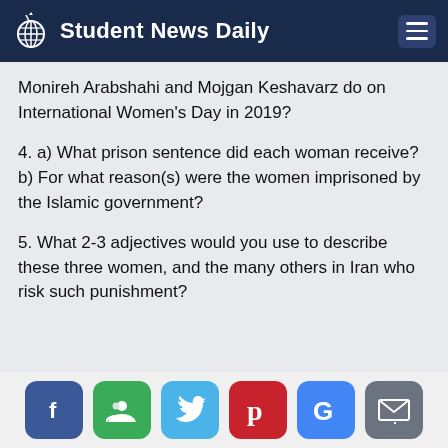Student News Daily
Monireh Arabshahi and Mojgan Keshavarz do on International Women's Day in 2019?
4. a) What prison sentence did each woman receive?
b) For what reason(s) were the women imprisoned by the Islamic government?
5. What 2-3 adjectives would you use to describe these three women, and the many others in Iran who risk such punishment?
[Figure (infographic): Social sharing buttons: Facebook (blue), Google+ (green), Twitter (light blue), Pinterest (red), Google (blue), Email (gray)]